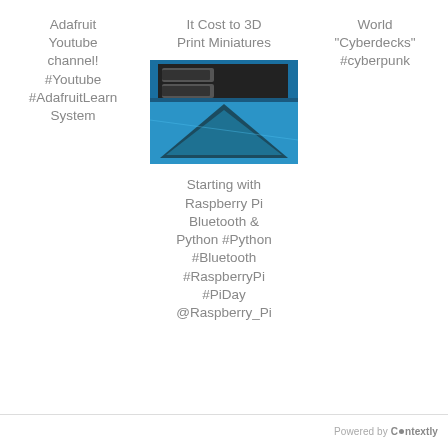Adafruit Youtube channel! #Youtube #AdafruitLearnSystem
It Cost to 3D Print Miniatures
World "Cyberdecks" #cyberpunk
[Figure (photo): Close-up photo of a Raspberry Pi or similar single-board computer showing USB ports and a blue circuit board with a black triangular logo]
Starting with Raspberry Pi Bluetooth & Python #Python #Bluetooth #RaspberryPi #PiDay @Raspberry_Pi
Powered by Contextly